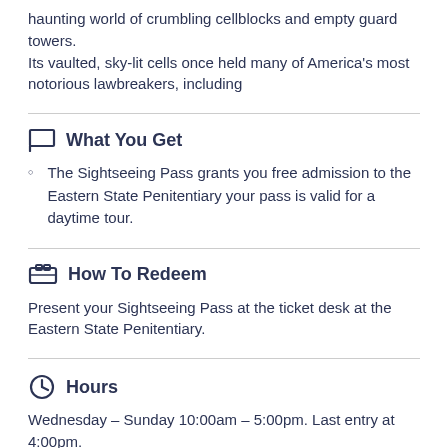haunting world of crumbling cellblocks and empty guard towers. Its vaulted, sky-lit cells once held many of America's most notorious lawbreakers, including
What You Get
The Sightseeing Pass grants you free admission to the Eastern State Penitentiary your pass is valid for a daytime tour.
How To Redeem
Present your Sightseeing Pass at the ticket desk at the Eastern State Penitentiary.
Hours
Wednesday – Sunday 10:00am – 5:00pm. Last entry at 4:00pm.